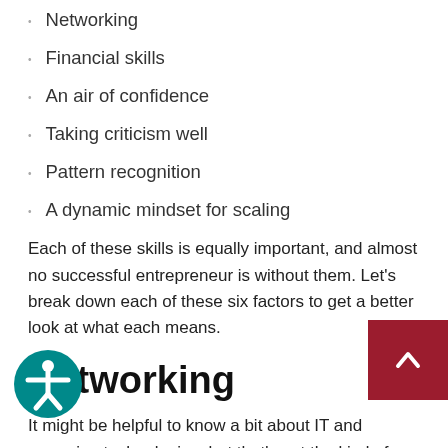Networking
Financial skills
An air of confidence
Taking criticism well
Pattern recognition
A dynamic mindset for scaling
Each of these skills is equally important, and almost no successful entrepreneur is without them. Let's break down each of these six factors to get a better look at what each means.
Networking
It might be helpful to know a bit about IT and emerging technologies, but that's not the kind of